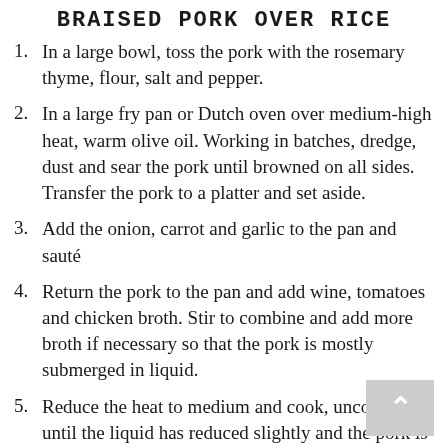BRAISED PORK OVER RICE
In a large bowl, toss the pork with the rosemary thyme, flour, salt and pepper.
In a large fry pan or Dutch oven over medium-high heat, warm olive oil. Working in batches, dredge, dust and sear the pork until browned on all sides. Transfer the pork to a platter and set aside.
Add the onion, carrot and garlic to the pan and sauté
Return the pork to the pan and add wine, tomatoes and chicken broth. Stir to combine and add more broth if necessary so that the pork is mostly submerged in liquid.
Reduce the heat to medium and cook, uncovered, until the liquid has reduced slightly and the pork is just starting to turn